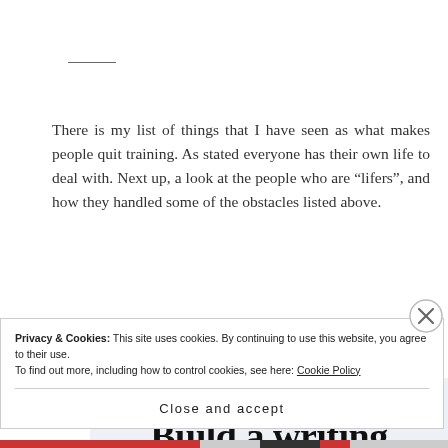There is my list of things that I have seen as what makes people quit training. As stated everyone has their own life to deal with. Next up, a look at the people who are “lifers”, and how they handled some of the obstacles listed above.
[Figure (other): Advertisement banner with text 'Build a writing' visible, partial ad content]
Privacy & Cookies: This site uses cookies. By continuing to use this website, you agree to their use.
To find out more, including how to control cookies, see here: Cookie Policy
Close and accept